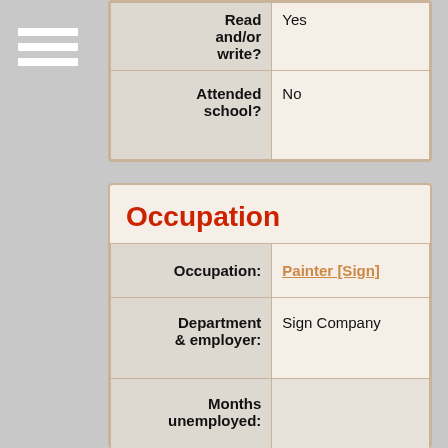| Field | Value |
| --- | --- |
| Read and/or write? | Yes |
| Attended school? | No |
Occupation
| Field | Value |
| --- | --- |
| Occupation: | Painter [Sign] |
| Department & employer: | Sign Company |
| Months unemployed: |  |
| Original census entry: | Painter, Sign Sign Company |